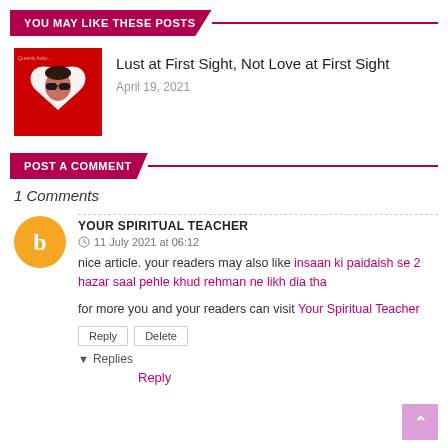YOU MAY LIKE THESE POSTS
[Figure (photo): Thumbnail image of a person wearing dark sunglasses framed in a red heart shape on a red background]
Lust at First Sight, Not Love at First Sight
April 19, 2021
POST A COMMENT
1 Comments
YOUR SPIRITUAL TEACHER
11 July 2021 at 06:12
nice article. your readers may also like insaan ki paidaish se 2 hazar saal pehle khud rehman ne likh dia tha
for more you and your readers can visit Your Spiritual Teacher
Reply  Delete
Replies
Reply